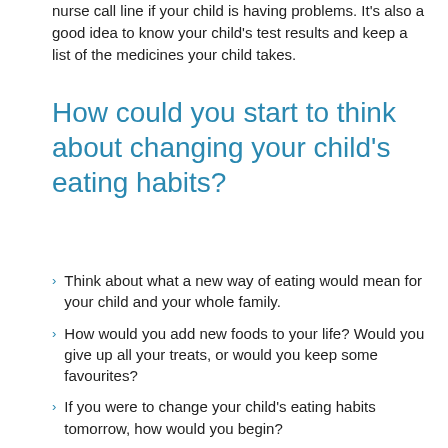nurse call line if your child is having problems. It's also a good idea to know your child's test results and keep a list of the medicines your child takes.
How could you start to think about changing your child's eating habits?
Think about what a new way of eating would mean for your child and your whole family.
How would you add new foods to your life? Would you give up all your treats, or would you keep some favourites?
If you were to change your child's eating habits tomorrow, how would you begin?
Make one or two changes and see how it works: – Do not buy junk food, such as chips and soda, for 1 week. Have your child and other family members pick out what they